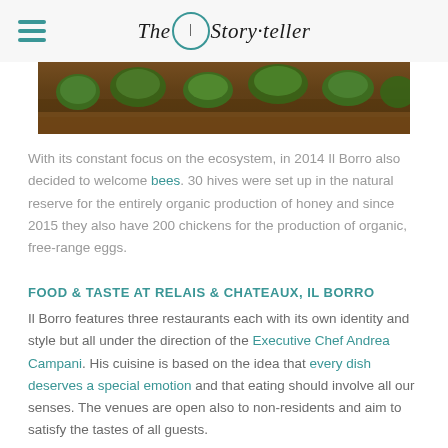The Storyteller
[Figure (photo): Close-up photo of green leafy plants growing in brown soil, agricultural/garden setting]
With its constant focus on the ecosystem, in 2014 Il Borro also decided to welcome bees. 30 hives were set up in the natural reserve for the entirely organic production of honey and since 2015 they also have 200 chickens for the production of organic, free-range eggs.
FOOD & TASTE AT RELAIS & CHATEAUX, IL BORRO
Il Borro features three restaurants each with its own identity and style but all under the direction of the Executive Chef Andrea Campani. His cuisine is based on the idea that every dish deserves a special emotion and that eating should involve all our senses. The venues are open also to non-residents and aim to satisfy the tastes of all guests.